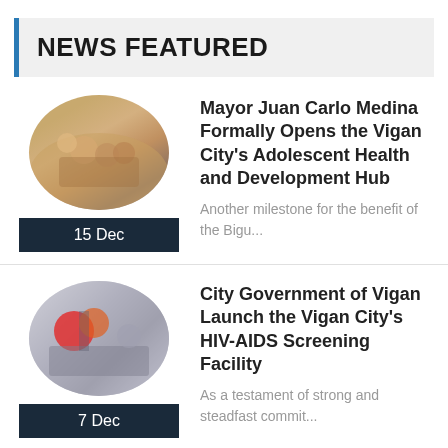NEWS FEATURED
[Figure (photo): Circular cropped photo of people in a building, appears to be a group gathering or event]
15 Dec
Mayor Juan Carlo Medina Formally Opens the Vigan City's Adolescent Health and Development Hub
Another milestone for the benefit of the Bigu...
[Figure (photo): Circular cropped photo of people near colorful decorations or props, outdoor or facility setting]
7 Dec
City Government of Vigan Launch the Vigan City's HIV-AIDS Screening Facility
As a testament of strong and steadfast commit...
23 Nov
CHO Holds Training on